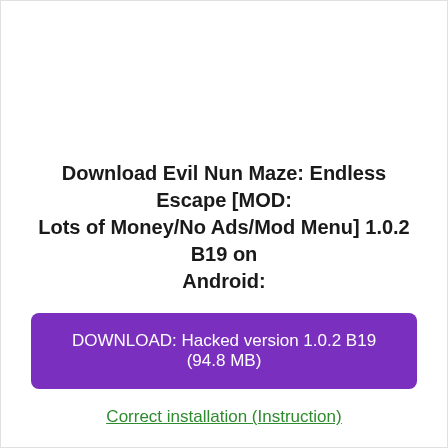Download Evil Nun Maze: Endless Escape [MOD: Lots of Money/No Ads/Mod Menu] 1.0.2 B19 on Android:
DOWNLOAD: Hacked version 1.0.2 B19 (94.8 MB)
Correct installation (Instruction)